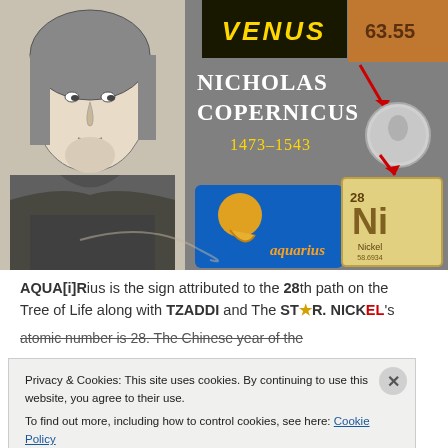[Figure (illustration): Composite image showing Nicholas Copernicus portrait (black and white engraving), VENUS banner in gold on black, coin showing 63.55, text 'NICHOLAS COPERNICUS 1473-1543', quarter coin, Aquarius zodiac sign graphic, and Nickel (Ni, element 28) periodic table tile]
AQUA[i]Rius is the sign attributed to the 28th path on the Tree of Life along with TZADDI and The ST★R. NICKEL's atomic number is 28. The Chinese year of the...
Privacy & Cookies: This site uses cookies. By continuing to use this website, you agree to their use.
To find out more, including how to control cookies, see here: Cookie Policy